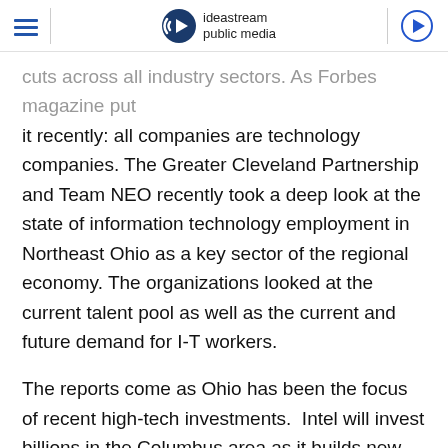ideastream public media
cuts across all industry sectors. As Forbes magazine put it recently: all companies are technology companies. The Greater Cleveland Partnership and Team NEO recently took a deep look at the state of information technology employment in Northeast Ohio as a key sector of the regional economy. The organizations looked at the current talent pool as well as the current and future demand for I-T workers.
The reports come as Ohio has been the focus of recent high-tech investments.  Intel will invest billions in the Columbus area as it builds new semi-conductor chip production factories.  And last week, Ford announced it plans to produce a new electric-vehicle and expand the Ohio Assembly Plant in Lorain County. The reports also